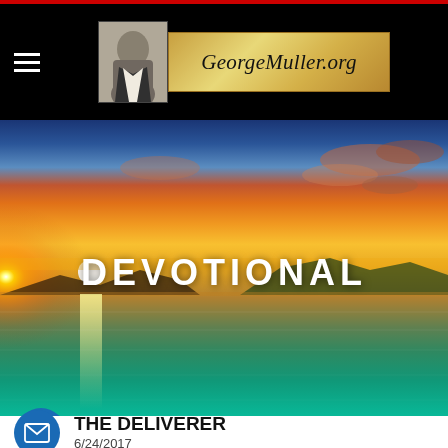GeorgeMuller.org
[Figure (illustration): Sunset over water with golden sky, mountains in silhouette, teal water in foreground. White bold text overlay reads DEVOTIONAL.]
THE DELIVERER
6/24/2017